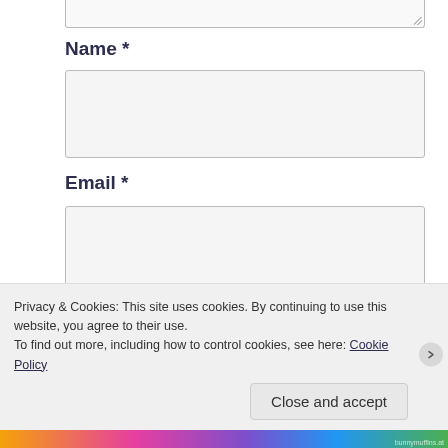Name *
[Figure (screenshot): Name text input field (empty, light gray background)]
Email *
[Figure (screenshot): Email text input field (empty, light gray background)]
Website
[Figure (screenshot): Website text input field (empty, light gray background, partially visible)]
Privacy & Cookies:  This site uses cookies. By continuing to use this website, you agree to their use.
To find out more, including how to control cookies, see here: Cookie Policy
Close and accept